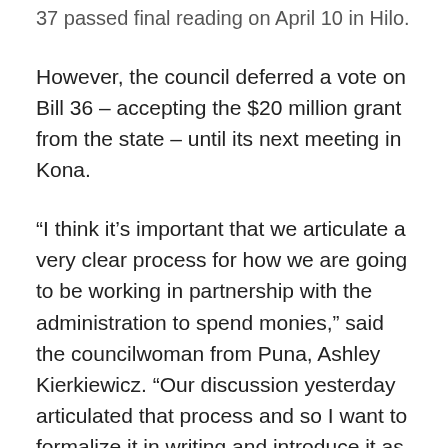37 passed final reading on April 10 in Hilo.
However, the council deferred a vote on Bill 36 – accepting the $20 million grant from the state – until its next meeting in Kona.
“I think it’s important that we articulate a very clear process for how we are going to be working in partnership with the administration to spend monies,” said the councilwoman from Puna, Ashley Kierkiewicz. “Our discussion yesterday articulated that process and so I want to formalize it in writing and introduce it as an amendment to the bill at our Kona meeting.”